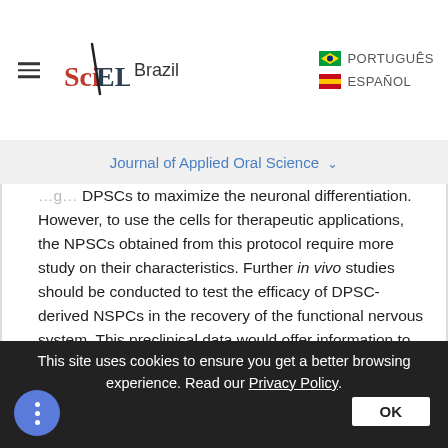SciELO Brazil | Journal of Applied Oral Science
DPSCs to maximize the neuronal differentiation. However, to use the cells for therapeutic applications, the NPSCs obtained from this protocol require more study on their characteristics. Further in vivo studies should be conducted to test the efficacy of DPSC-derived NSPCs in the recovery of the functional nervous system. This preclinical data would offer information to develop clinical NSPCs from DPSCs that benefits both allotransplantation and autologous transplantation.
This site uses cookies to ensure you get a better browsing experience. Read our Privacy Policy.